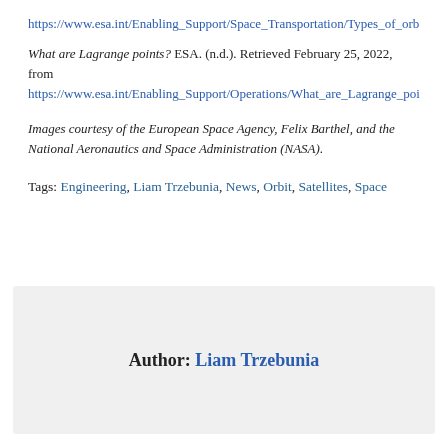https://www.esa.int/Enabling_Support/Space_Transportation/Types_of_orb
What are Lagrange points? ESA. (n.d.). Retrieved February 25, 2022, from https://www.esa.int/Enabling_Support/Operations/What_are_Lagrange_poi
Images courtesy of the European Space Agency, Felix Barthel, and the National Aeronautics and Space Administration (NASA).
Tags: Engineering, Liam Trzebunia, News, Orbit, Satellites, Space
Author: Liam Trzebunia